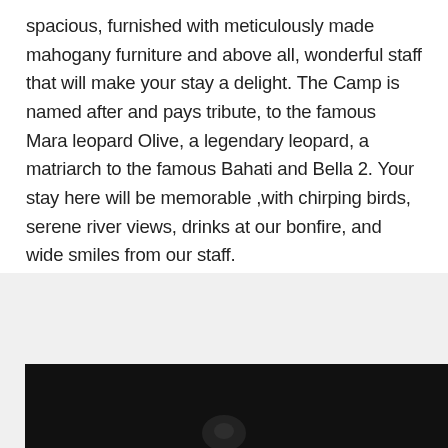spacious, furnished with meticulously made mahogany furniture and above all, wonderful staff that will make your stay a delight. The Camp is named after and pays tribute, to the famous Mara leopard Olive, a legendary leopard, a matriarch to the famous Bahati and Bella 2. Your stay here will be memorable ,with chirping birds, serene river views, drinks at our bonfire, and wide smiles from our staff.
[Figure (photo): A dark photograph, mostly black, with a faint subject visible at the bottom center, likely taken at night or in low light conditions.]